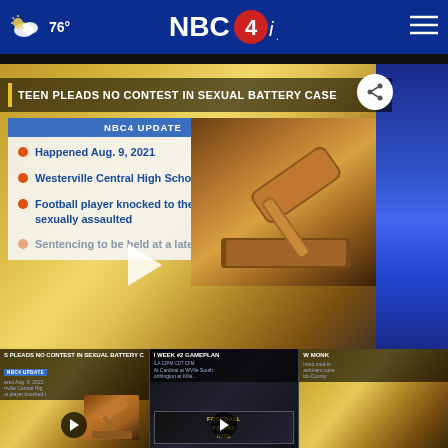76° NBC4i.com
[Figure (screenshot): NBC4i news website screenshot showing a video story: TEEN PLEADS NO CONTEST IN SEXUAL BATTERY CASE. NBC4 UPDATE graphic with bullet points: Happened Aug. 9, 2021; Westerville Central High School; Football player knocked to the floor, kicked, sexually assaulted; Sentencing to be held at a later date. Gavel image on right side of video thumbnail.]
TEEN PLEADS NO CONTEST IN SEXUAL BATTERY CASE
[Figure (screenshot): Row of three related video thumbnails: 1) PLEADS NO CONTEST IN SEXUAL BATTERY CASE, 2) WEEK #2 GAMEPLAN, 3) W MONKI (partial). Each has a play button.]